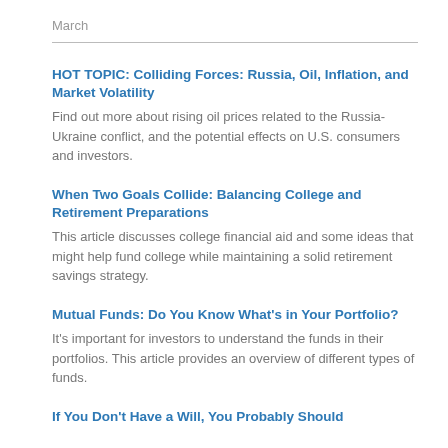March
HOT TOPIC: Colliding Forces: Russia, Oil, Inflation, and Market Volatility
Find out more about rising oil prices related to the Russia-Ukraine conflict, and the potential effects on U.S. consumers and investors.
When Two Goals Collide: Balancing College and Retirement Preparations
This article discusses college financial aid and some ideas that might help fund college while maintaining a solid retirement savings strategy.
Mutual Funds: Do You Know What's in Your Portfolio?
It's important for investors to understand the funds in their portfolios. This article provides an overview of different types of funds.
If You Don't Have a Will, You Probably Should